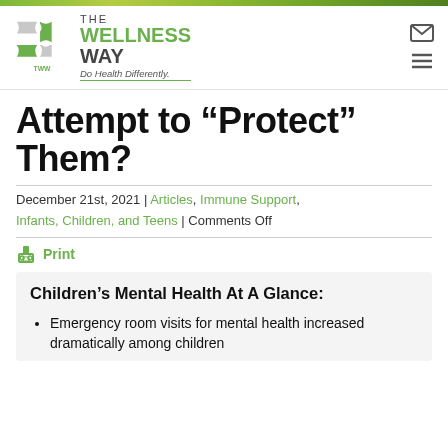[Figure (logo): The Wellness Way logo with puzzle piece icon and tagline 'Do Health Differently.']
Attempt to “Protect” Them?
December 21st, 2021 | Articles, Immune Support, Infants, Children, and Teens | Comments Off
Print
Children’s Mental Health At A Glance:
Emergency room visits for mental health increased dramatically among children